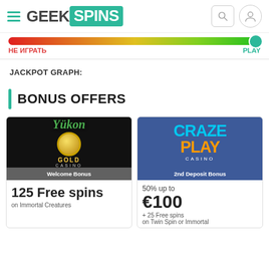[Figure (screenshot): GeekSpins website header with hamburger menu, logo, search and user icons]
[Figure (infographic): Rating bar gradient from red to green with dot on right side, labeled НЕ ИГРАТЬ on left and PLAY on right]
JACKPOT GRAPH:
BONUS OFFERS
[Figure (illustration): Yukon Gold Casino card with dark background logo, Welcome Bonus badge, showing 125 Free spins on Immortal Creatures]
[Figure (illustration): CrazePlay Casino card with blue background logo, 2nd Deposit Bonus badge, showing 50% up to €100 + 25 Free spins on Twin Spin or Immortal]
Welcome Bonus
125 Free spins
on Immortal Creatures
2nd Deposit Bonus
50% up to
€100
+ 25 Free spins
on Twin Spin or Immortal